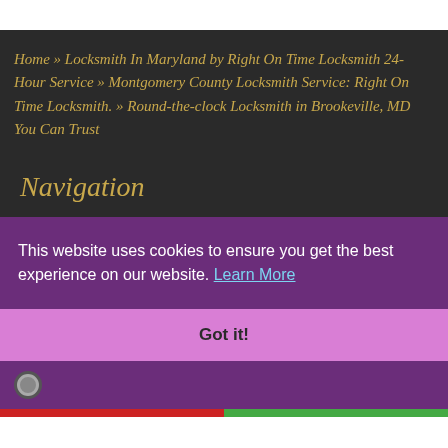Home » Locksmith In Maryland by Right On Time Locksmith 24-Hour Service » Montgomery County Locksmith Service: Right On Time Locksmith. » Round-the-clock Locksmith in Brookeville, MD You Can Trust
Navigation
This website uses cookies to ensure you get the best experience on our website. Learn More
Got it!